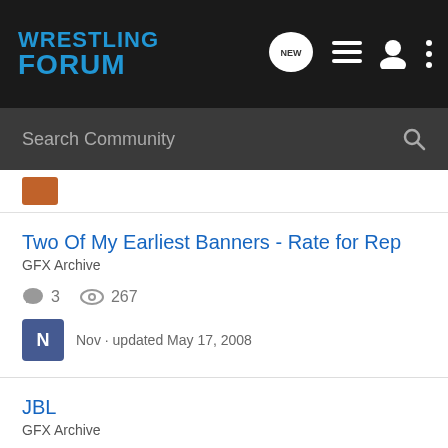WRESTLING FORUM
Search Community
Two Of My Earliest Banners - Rate for Rep
GFX Archive
3 replies · 267 views
N · Nov · updated May 17, 2008
JBL
GFX Archive
12 replies · 416 views
HPNOTIQ · updated Apr 24, 2006